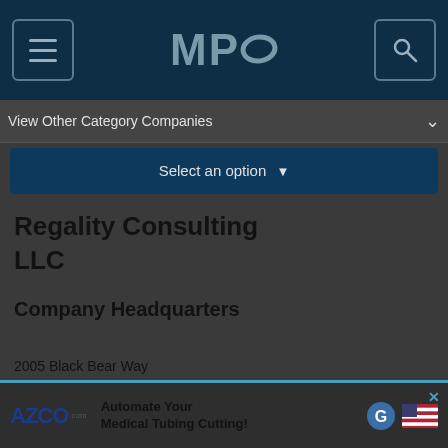MPO
View Other Category Companies
Select an option
Regality Consulting LLC
Company Headquarters
2005 Black Bear Way
Pittsburgh, PA 15017
United States
[Figure (screenshot): Advertisement banner for AZCO Corp promoting automated medical tubing cutting]